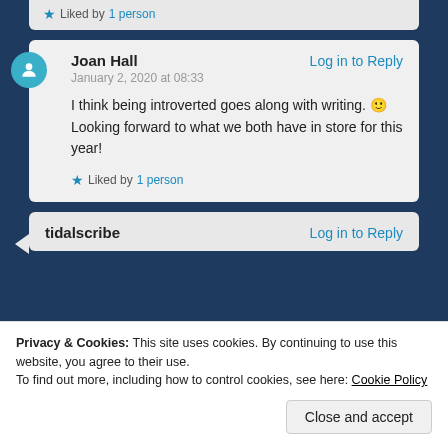★ Liked by 1 person
Joan Hall
January 2, 2020 at 08:33
I think being introverted goes along with writing. 🙂 Looking forward to what we both have in store for this year!
★ Liked by 1 person
Log in to Reply
tidalscribe
Log in to Reply
Privacy & Cookies: This site uses cookies. By continuing to use this website, you agree to their use.
To find out more, including how to control cookies, see here: Cookie Policy
Close and accept